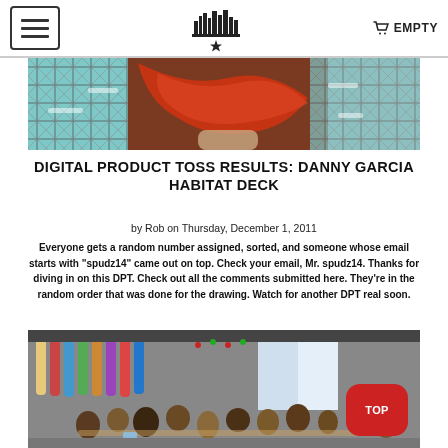☰ [logo] 🛒 EMPTY
[Figure (photo): Close-up photo of a colorful skateboard deck with red graphic and teal/white street map pattern]
DIGITAL PRODUCT TOSS RESULTS: DANNY GARCIA HABITAT DECK
by Rob on Thursday, December 1, 2011
Everyone gets a random number assigned, sorted, and someone whose email starts with "spudz14" came out on top. Check your email, Mr. spudz14. Thanks for diving in on this DPT. Check out all the comments submitted here. They're in the random order that was done for the drawing. Watch for another DPT real soon.
[Figure (photo): Interior photo of a skate shop with skateboards on the wall and a crowd of people gathered inside]